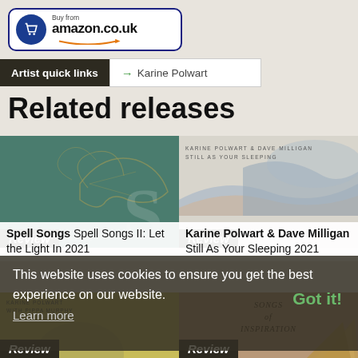[Figure (logo): Amazon.co.uk Buy from button with shopping cart icon]
Artist quick links → Karine Polwart
Related releases
[Figure (photo): Spell Songs Spell Songs II: Let the Light In 2021 album cover - teal green with dragonfly illustration]
[Figure (photo): Karine Polwart & Dave Milligan Still As Your Sleeping 2021 album cover - grey blue waves]
This website uses cookies to ensure you get the best experience on our website. Learn more
Got it!
[Figure (photo): Karine Polwart with Pippa Murphy album cover - yellow background with figure]
[Figure (photo): Songs of Inspiration album cover - warm peach tones with fan/book imagery]